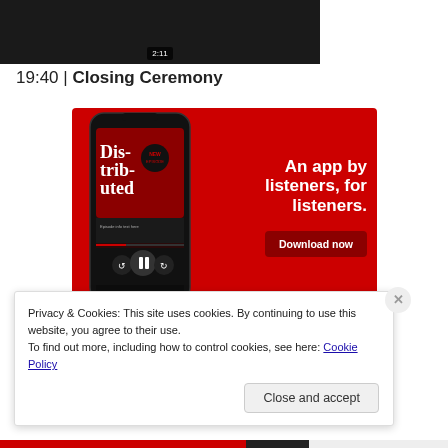[Figure (screenshot): Screenshot of a video player with dark background showing a video thumbnail, with a timer showing 2:11]
19:40 | Closing Ceremony
[Figure (photo): Red advertisement banner for a podcast app showing a smartphone with 'Distributed' podcast app open, with text 'An app by listeners, for listeners.' and a 'Download now' button]
Privacy & Cookies: This site uses cookies. By continuing to use this website, you agree to their use.
To find out more, including how to control cookies, see here: Cookie Policy
Close and accept